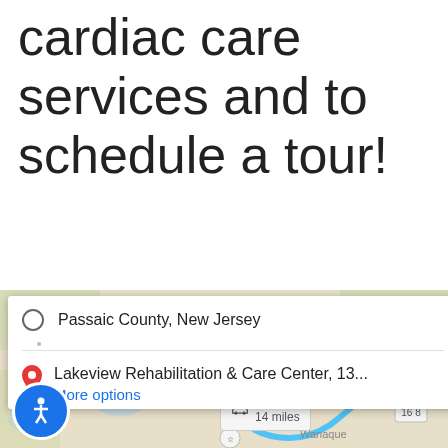cardiac care services and to schedule a tour!
[Figure (map): Google Maps showing driving directions from Passaic County, New Jersey to Lakeview Rehabilitation & Care Center, with route overlay showing 49 min (transit) and 25 min / 14 miles (driving) badges. An accessibility icon button appears in the lower left.]